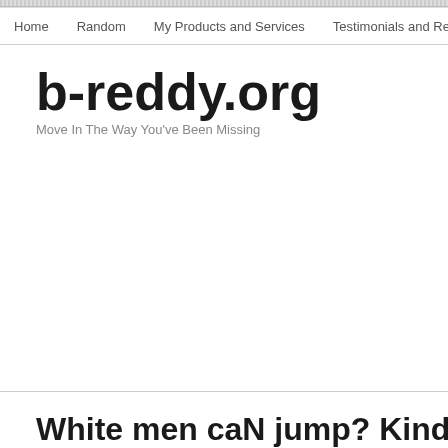Home  Random  My Products and Services  Testimonials and Results  Wh…
b-reddy.org
Move In The Way You've Been Missing
White men caN jump? Kind of. Bu…